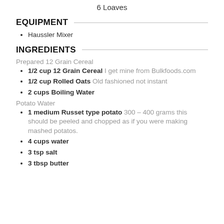6 Loaves
EQUIPMENT
Haussler Mixer
INGREDIENTS
Prepared 12 Grain Cereal
1/2 cup 12 Grain Cereal I get mine from Bulkfoods.com
1/2 cup Rolled Oats Old fashioned not instant
2 cups Boiling Water
Potato Water
1 medium Russet type potato 300 – 400 grams this should be peeled and chopped as if you were making mashed potatos.
4 cups water
3 tsp salt
3 tbsp butter